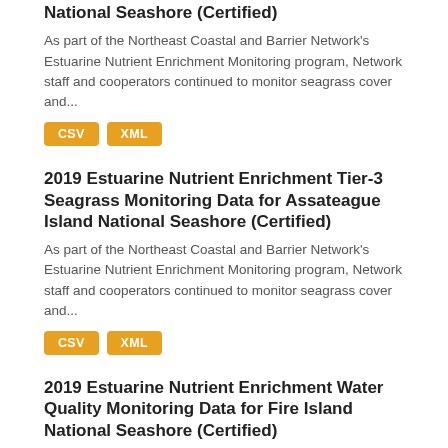National Seashore (Certified)
As part of the Northeast Coastal and Barrier Network's Estuarine Nutrient Enrichment Monitoring program, Network staff and cooperators continued to monitor seagrass cover and...
CSV
XML
2019 Estuarine Nutrient Enrichment Tier-3 Seagrass Monitoring Data for Assateague Island National Seashore (Certified)
As part of the Northeast Coastal and Barrier Network's Estuarine Nutrient Enrichment Monitoring program, Network staff and cooperators continued to monitor seagrass cover and...
CSV
XML
2019 Estuarine Nutrient Enrichment Water Quality Monitoring Data for Fire Island National Seashore (Certified)
As part of the Northeast Coastal and Barrier Network's